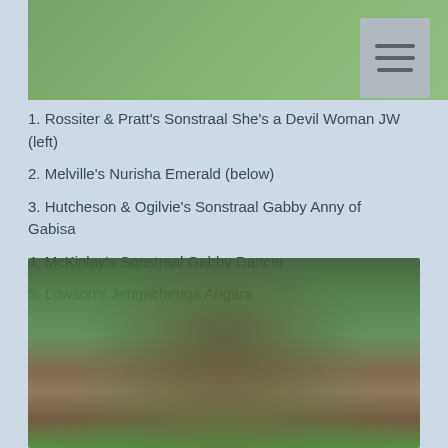[Figure (photo): Blurred outdoor photo at top of page showing green grass/field background]
1. Rossiter & Pratt's Sonstraal She's a Devil Woman JW (left)
2. Melville's Nurisha Emerald (below)
3. Hutcheson & Ogilvie's Sonstraal Gabby Anny of Gabisa
4. McKinlay's Sonstraal Gabby Dancer
5. Lowson's Jengachenga Angara
[Figure (photo): Blurred photo of a person with a golden/tan dog on green grass]